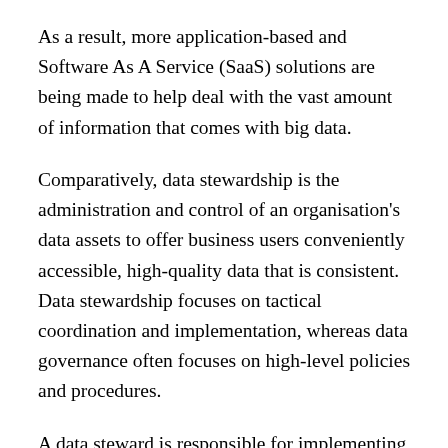As a result, more application-based and Software As A Service (SaaS) solutions are being made to help deal with the vast amount of information that comes with big data.
Comparatively, data stewardship is the administration and control of an organisation's data assets to offer business users conveniently accessible, high-quality data that is consistent. Data stewardship focuses on tactical coordination and implementation, whereas data governance often focuses on high-level policies and procedures.
A data steward is responsible for implementing data usage and security standards as specified by enterprise data governance initiatives. This serves